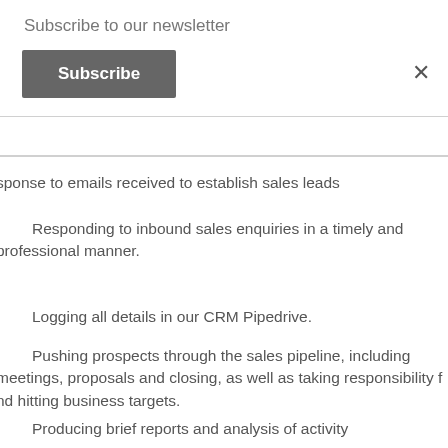Subscribe to our newsletter
Subscribe
×
sponse to emails received to establish sales leads
Responding to inbound sales enquiries in a timely and professional manner.
Logging all details in our CRM Pipedrive.
Pushing prospects through the sales pipeline, including meetings, proposals and closing, as well as taking responsibility for hitting business targets.
Producing brief reports and analysis of activity